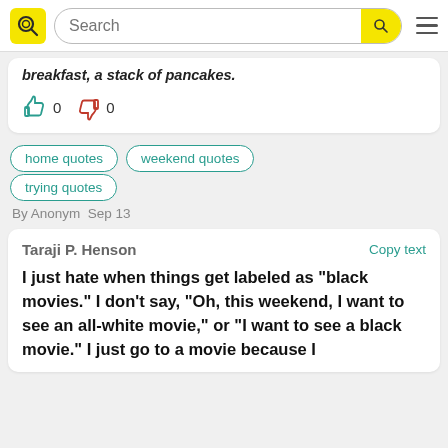Search
breakfast, a stack of pancakes.
0  0
home quotes
weekend quotes
trying quotes
By Anonym  Sep 13
Taraji P. Henson
Copy text
I just hate when things get labeled as "black movies." I don't say, "Oh, this weekend, I want to see an all-white movie," or "I want to see a black movie." I just go to a movie because I